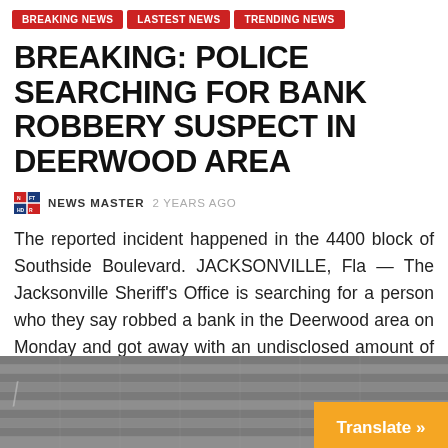BREAKING NEWS | LASTEST NEWS | TRENDING NEWS
BREAKING: POLICE SEARCHING FOR BANK ROBBERY SUSPECT IN DEERWOOD AREA
NEWS MASTER 2 YEARS AGO
The reported incident happened in the 4400 block of Southside Boulevard. JACKSONVILLE, Fla — The Jacksonville Sheriff's Office is searching for a person who they say robbed a bank in the Deerwood area on Monday and got away with an undisclosed amount of cash. The reported incident happened in the 4400 block of Southside Boulevard ...
[Figure (photo): Bottom portion of a building exterior with grey stone/tile cladding, partially visible. A 'Translate »' orange button overlay appears at bottom right.]